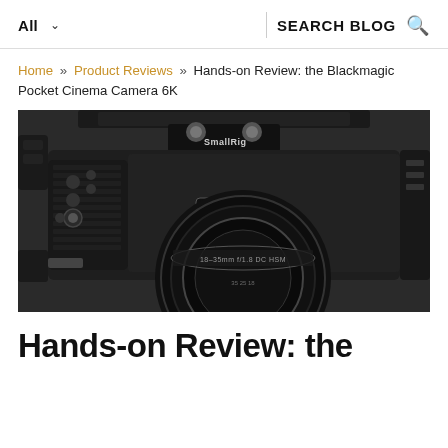All  ∨  SEARCH BLOG  🔍
Home » Product Reviews » Hands-on Review: the Blackmagic Pocket Cinema Camera 6K
[Figure (photo): Black and white photo of a Blackmagic Pocket Cinema Camera 6K in a SmallRig cage, showing the front of the camera with lens attached and '6K' badge visible]
Hands-on Review: the